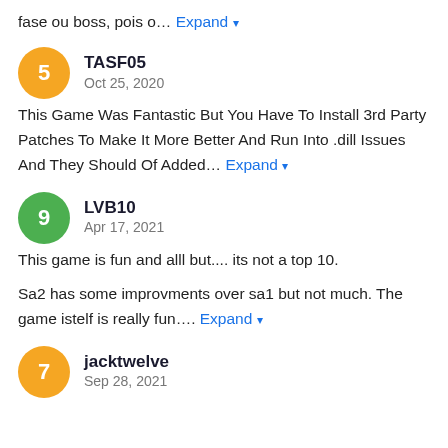fase ou boss, pois o… Expand
TASF05
Oct 25, 2020
This Game Was Fantastic But You Have To Install 3rd Party Patches To Make It More Better And Run Into .dill Issues And They Should Of Added… Expand
LVB10
Apr 17, 2021
This game is fun and alll but.... its not a top 10.
Sa2 has some improvments over sa1 but not much. The game istelf is really fun.... Expand
jacktwelve
Sep 28, 2021